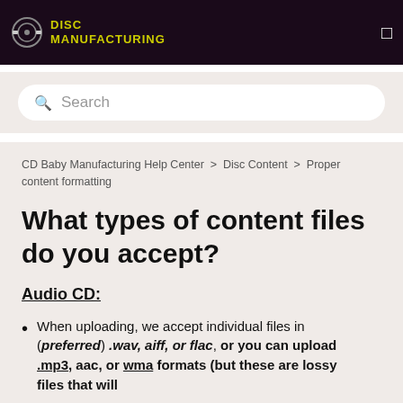DISC MANUFACTURING
Search
CD Baby Manufacturing Help Center > Disc Content > Proper content formatting
What types of content files do you accept?
Audio CD:
When uploading, we accept individual files in (preferred) .wav, aiff, or flac, or you can upload .mp3, aac, or wma formats (but these are lossy files that will...